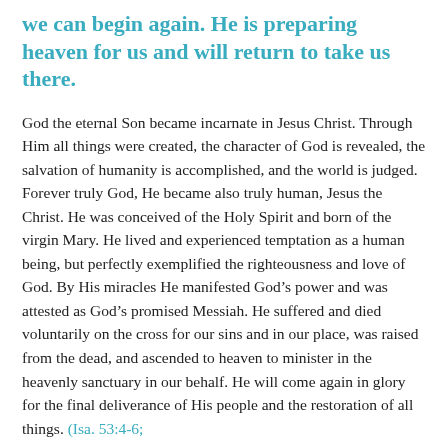we can begin again. He is preparing heaven for us and will return to take us there.
God the eternal Son became incarnate in Jesus Christ. Through Him all things were created, the character of God is revealed, the salvation of humanity is accomplished, and the world is judged. Forever truly God, He became also truly human, Jesus the Christ. He was conceived of the Holy Spirit and born of the virgin Mary. He lived and experienced temptation as a human being, but perfectly exemplified the righteousness and love of God. By His miracles He manifested God’s power and was attested as God’s promised Messiah. He suffered and died voluntarily on the cross for our sins and in our place, was raised from the dead, and ascended to heaven to minister in the heavenly sanctuary in our behalf. He will come again in glory for the final deliverance of His people and the restoration of all things. (Isa. 53:4-6;